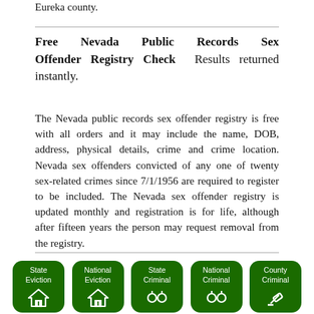Eureka county.
Free Nevada Public Records Sex Offender Registry Check  Results returned instantly.
The Nevada public records sex offender registry is free with all orders and it may include the name, DOB, address, physical details, crime and crime location. Nevada sex offenders convicted of any one of twenty sex-related crimes since 7/1/1956 are required to register to be included. The Nevada sex offender registry is updated monthly and registration is for life, although after fifteen years the person may request removal from the registry.
[Figure (infographic): Row of five dark green rounded square buttons: State Eviction (house icon), National Eviction (house icon), State Criminal (handcuffs icon), National Criminal (handcuffs icon), County Criminal (gavel icon)]